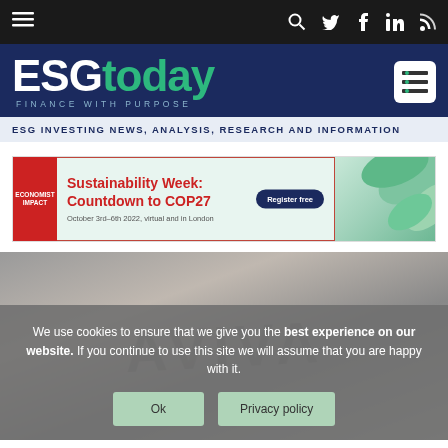ESGtoday - FINANCE WITH PURPOSE - ESG INVESTING NEWS, ANALYSIS, RESEARCH AND INFORMATION
[Figure (screenshot): ESGtoday website screenshot showing top navigation bar, logo, ad banner for Sustainability Week Countdown to COP27 by Economist Impact, and cookie consent overlay over an article image showing AVIVA logo]
Sustainability Week: Countdown to COP27
October 3rd–6th 2022, virtual and in London
We use cookies to ensure that we give you the best experience on our website. If you continue to use this site we will assume that you are happy with it.
Ok
Privacy policy